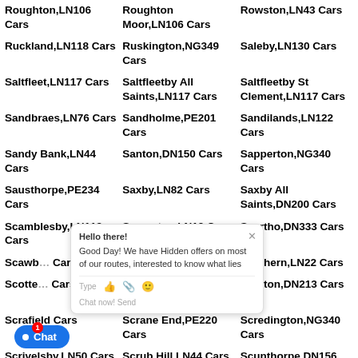Roughton,LN106 Cars
Roughton Moor,LN106 Cars
Rowston,LN43 Cars
Ruckland,LN118 Cars
Ruskington,NG349 Cars
Saleby,LN130 Cars
Saltfleet,LN117 Cars
Saltfleetby All Saints,LN117 Cars
Saltfleetby St Clement,LN117 Cars
Sandbraes,LN76 Cars
Sandholme,PE201 Cars
Sandilands,LN122 Cars
Sandy Bank,LN44 Cars
Santon,DN150 Cars
Sapperton,NG340 Cars
Sausthorpe,PE234 Cars
Saxby,LN82 Cars
Saxby All Saints,DN200 Cars
Scamblesby,LN119 Cars
Scampton,LN12 Cars
Scartho,DN333 Cars
Scawby Cars
Scopwick,LN43 Cars
Scothern,LN22 Cars
Scotter Cars
Scottlethorpe,PE100 Cars
Scotton,DN213 Cars
Scrafie...
Scrane End,PE220 Cars
Scredington,NG340 Cars
Scrivelsby,LN50 Cars
Scrub Hill,LN44 Cars
Scunthorpe,DN156 Cars
...E253 Cars
Seadyke,PE201 Cars
Searby,DN386 Cars
Sedgebrook,NG322
Sempringham,NG340